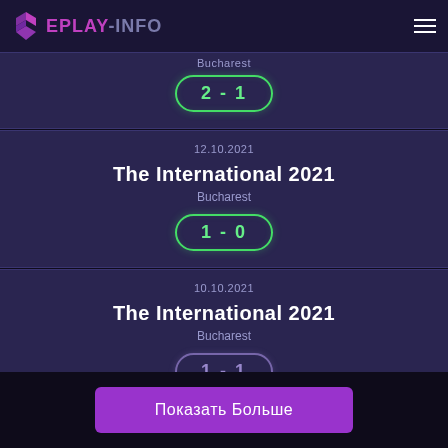EPLAY-INFO
Bucharest
2 - 1
12.10.2021
The International 2021
Bucharest
1 - 0
10.10.2021
The International 2021
Bucharest
1 - 1
Показать Больше